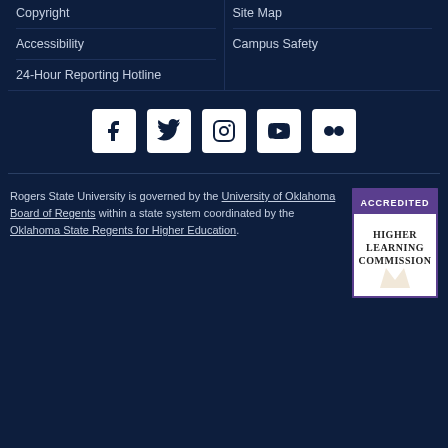Copyright
Site Map
Accessibility
Campus Safety
24-Hour Reporting Hotline
[Figure (infographic): Social media icons: Facebook, Twitter, Instagram, YouTube, Flickr]
Rogers State University is governed by the University of Oklahoma Board of Regents within a state system coordinated by the Oklahoma State Regents for Higher Education.
[Figure (logo): Accredited Higher Learning Commission badge]